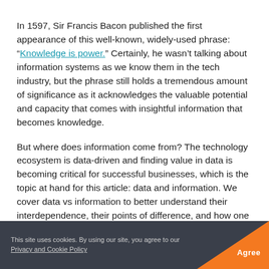In 1597, Sir Francis Bacon published the first appearance of this well-known, widely-used phrase: “Knowledge is power.” Certainly, he wasn’t talking about information systems as we know them in the tech industry, but the phrase still holds a tremendous amount of significance as it acknowledges the valuable potential and capacity that comes with insightful information that becomes knowledge.
But where does information come from? The technology ecosystem is data-driven and finding value in data is becoming critical for successful businesses, which is the topic at hand for this article: data and information. We cover data vs information to better understand their interdependence, their points of difference, and how one
This site uses cookies. By using our site, you agree to our Privacy and Cookie Policy